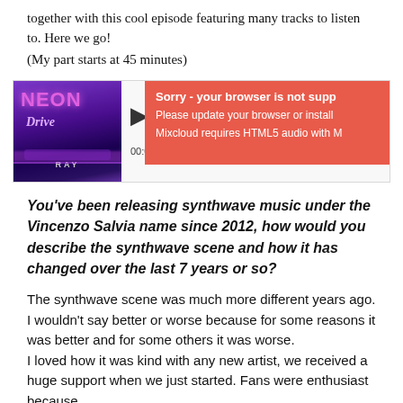together with this cool episode featuring many tracks to listen to. Here we go!
(My part starts at 45 minutes)
[Figure (screenshot): Mixcloud audio player embed showing 'Neon Drive' album art with a purple synthwave car scene, play button, progress bar showing 00:00 and -1:55:14, and a red error overlay reading 'Sorry - your browser is not supp / Please update your browser or install / Mixcloud requires HTML5 audio with M']
You've been releasing synthwave music under the Vincenzo Salvia name since 2012, how would you describe the synthwave scene and how it has changed over the last 7 years or so?
The synthwave scene was much more different years ago. I wouldn't say better or worse because for some reasons it was better and for some others it was worse.
I loved how it was kind with any new artist, we received a huge support when we just started. Fans were enthusiast because